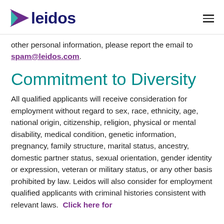leidos
other personal information, please report the email to spam@leidos.com.
Commitment to Diversity
All qualified applicants will receive consideration for employment without regard to sex, race, ethnicity, age, national origin, citizenship, religion, physical or mental disability, medical condition, genetic information, pregnancy, family structure, marital status, ancestry, domestic partner status, sexual orientation, gender identity or expression, veteran or military status, or any other basis prohibited by law. Leidos will also consider for employment qualified applicants with criminal histories consistent with relevant laws.  Click here for